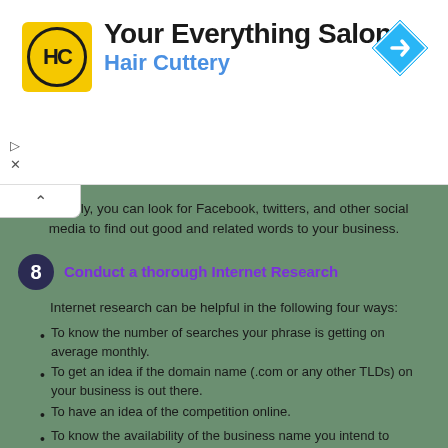[Figure (logo): Hair Cuttery logo - yellow rounded square with HC letters in circle]
Your Everything Salon
Hair Cuttery
[Figure (other): Blue diamond navigation icon with right arrow]
Similarly, you can look for Facebook, twitters, and other social media to find out good and related words to your business.
8 Conduct a thorough Internet Research
Internet research can be helpful in the following four ways:
To know the number of searches your phrase is getting on average monthly.
To get an idea if the domain name (.com or any other TLDs) on your business is out there.
To have an idea of the competition online.
To know the availability of the business name you intend to choose.
9 Shortlist your ideas and finally pick one
Once you have a list of possible business names. It's time